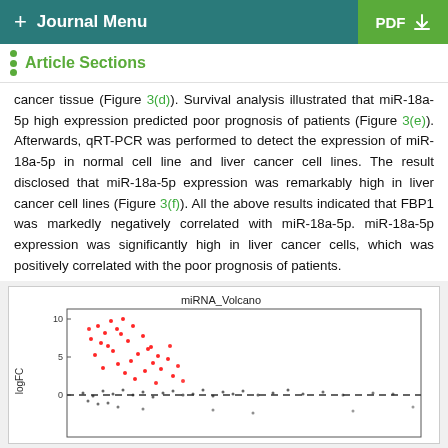+ Journal Menu  PDF ↓
Article Sections
cancer tissue (Figure 3(d)). Survival analysis illustrated that miR-18a-5p high expression predicted poor prognosis of patients (Figure 3(e)). Afterwards, qRT-PCR was performed to detect the expression of miR-18a-5p in normal cell line and liver cancer cell lines. The result disclosed that miR-18a-5p expression was remarkably high in liver cancer cell lines (Figure 3(f)). All the above results indicated that FBP1 was markedly negatively correlated with miR-18a-5p. miR-18a-5p expression was significantly high in liver cancer cells, which was positively correlated with the poor prognosis of patients.
[Figure (scatter-plot): Volcano plot showing miRNA expression data. Red dots clustered upper-left indicate significantly upregulated miRNAs. Black dots spread at logFC near 0 represent non-significant or downregulated miRNAs. Dashed horizontal line at logFC=0.]